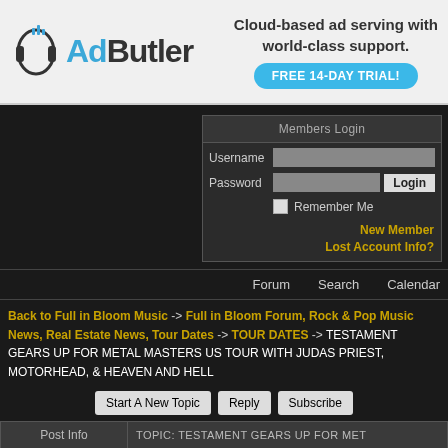[Figure (logo): AdButler logo with headphones icon and tagline 'Cloud-based ad serving with world-class support.' plus FREE 14-DAY TRIAL button]
| Members Login |
| --- |
| Username |  |
| Password |  | Login |
| Remember Me |
| New Member | Lost Account Info? |
Forum  Search  Calendar
Back to Full in Bloom Music -> Full in Bloom Forum, Rock & Pop Music News, Real Estate News, Tour Dates -> TOUR DATES -> TESTAMENT GEARS UP FOR METAL MASTERS US TOUR WITH JUDAS PRIEST, MOTORHEAD, & HEAVEN AND HELL
Start A New Topic  Reply  Subscribe
| Post Info | TOPIC: TESTAMENT GEARS UP FOR ME... |
| --- | --- |
| DPJ | TESTAMENT GEARS UP FOR ME...
MOTORHEAD, & HEAVEN AND... |